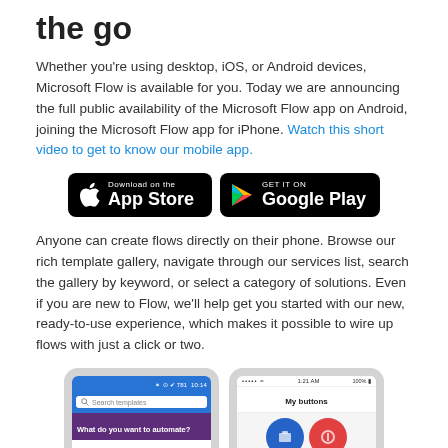the go
Whether you're using desktop, iOS, or Android devices, Microsoft Flow is available for you. Today we are announcing the full public availability of the Microsoft Flow app on Android, joining the Microsoft Flow app for iPhone. Watch this short video to get to know our mobile app.
[Figure (infographic): App Store and Google Play download buttons on black rounded rectangle backgrounds]
Anyone can create flows directly on their phone. Browse our rich template gallery, navigate through our services list, search the gallery by keyword, or select a category of solutions. Even if you are new to Flow, we'll help get you started with our new, ready-to-use experience, which makes it possible to wire up flows with just a click or two.
[Figure (screenshot): Two mobile phone screenshots showing the Microsoft Flow app on Android (Search templates, What do you want to automate?) and iOS (My buttons screen)]